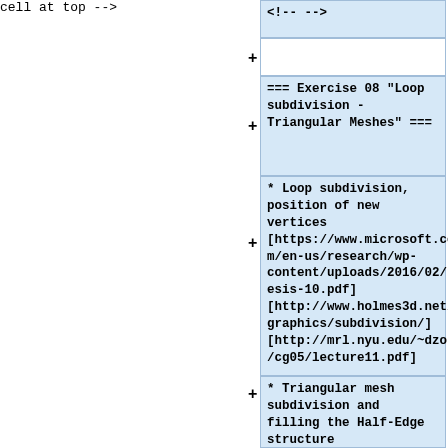<!-- -->
+
=== Exercise 08 "Loop subdivision - Triangular Meshes" ===
* Loop subdivision, position of new vertices [https://www.microsoft.com/en-us/research/wp-content/uploads/2016/02/thesis-10.pdf] [http://www.holmes3d.net/graphics/subdivision/] [http://mrl.nyu.edu/~dzorin/cg05/lecture11.pdf]
* Triangular mesh subdivision and filling the Half-Edge structure [[media:loop_subdiv2.blend|loop_subdiv2.blend]] <!---->